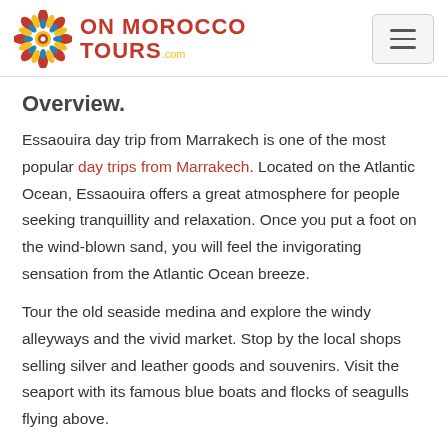ON MOROCCO TOURS .com
Overview.
Essaouira day trip from Marrakech is one of the most popular day trips from Marrakech. Located on the Atlantic Ocean, Essaouira offers a great atmosphere for people seeking tranquillity and relaxation. Once you put a foot on the wind-blown sand, you will feel the invigorating sensation from the Atlantic Ocean breeze.
Tour the old seaside medina and explore the windy alleyways and the vivid market. Stop by the local shops selling silver and leather goods and souvenirs. Visit the seaport with its famous blue boats and flocks of seagulls flying above.
Choose a selection of freshly caught fish in the seaport to